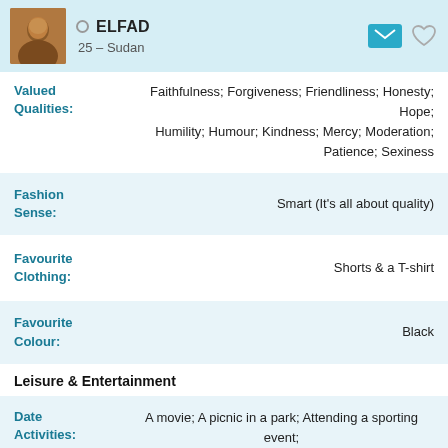ELFAD
25 – Sudan
Valued Qualities: Faithfulness; Forgiveness; Friendliness; Honesty; Hope; Humility; Humour; Kindness; Mercy; Moderation; Patience; Sexiness
Fashion Sense: Smart (It's all about quality)
Favourite Clothing: Shorts & a T-shirt
Favourite Colour: Black
Leisure & Entertainment
Date Activities: A movie; A picnic in a park; Attending a sporting event; Dinner at a restaurant; Going to the theatre; Meeting for coffee; Meeting for drinks; Walking on the beach